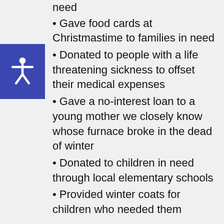need
Gave food cards at Christmastime to families in need
Donated to people with a life threatening sickness to offset their medical expenses
Gave a no-interest loan to a young mother we closely know whose furnace broke in the dead of winter
Donated to children in need through local elementary schools
Provided winter coats for children who needed them
We look forward to continuing to take good care of people every day! In this Facebook group we invite the public to share what they have to offer, ask for donations on behalf of those in need,